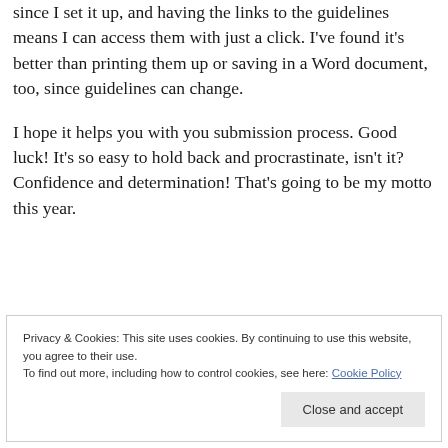since I set it up, and having the links to the guidelines means I can access them with just a click. I've found it's better than printing them up or saving in a Word document, too, since guidelines can change.
I hope it helps you with you submission process. Good luck! It's so easy to hold back and procrastinate, isn't it? Confidence and determination! That's going to be my motto this year.
Privacy & Cookies: This site uses cookies. By continuing to use this website, you agree to their use.
To find out more, including how to control cookies, see here: Cookie Policy
Close and accept